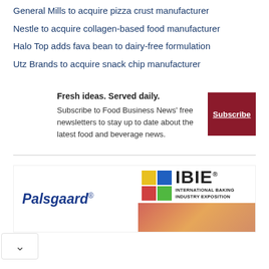General Mills to acquire pizza crust manufacturer
Nestle to acquire collagen-based food manufacturer
Halo Top adds fava bean to dairy-free formulation
Utz Brands to acquire snack chip manufacturer
Fresh ideas. Served daily. Subscribe to Food Business News' free newsletters to stay up to date about the latest food and beverage news.
[Figure (logo): Palsgaard and IBIE International Baking Industry Exposition advertisement banner]